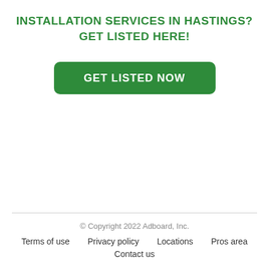INSTALLATION SERVICES IN HASTINGS?
GET LISTED HERE!
[Figure (other): Green rounded rectangle button with white bold uppercase text reading GET LISTED NOW]
© Copyright 2022 Adboard, Inc.
Terms of use   Privacy policy   Locations   Pros area
Contact us